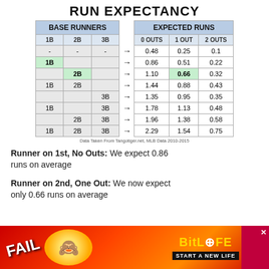RUN EXPECTANCY
| 1B | 2B | 3B |  | 0 OUTS | 1 OUT | 2 OUTS |
| --- | --- | --- | --- | --- | --- | --- |
| - | - | - | → | 0.48 | 0.25 | 0.1 |
| 1B |  |  | → | 0.86 | 0.51 | 0.22 |
|  | 2B |  | → | 1.10 | 0.66 | 0.32 |
| 1B | 2B |  | → | 1.44 | 0.88 | 0.43 |
|  |  | 3B | → | 1.35 | 0.95 | 0.35 |
| 1B |  | 3B | → | 1.78 | 1.13 | 0.48 |
|  | 2B | 3B | → | 1.96 | 1.38 | 0.58 |
| 1B | 2B | 3B | → | 2.29 | 1.54 | 0.75 |
Data Taken From Tangotiger.net, MLB Data 2010-2015
Runner on 1st, No Outs: We expect 0.86 runs on average
Runner on 2nd, One Out: We now expect only 0.66 runs on average
[Figure (photo): BitLife advertisement banner with FAIL text and cartoon character]